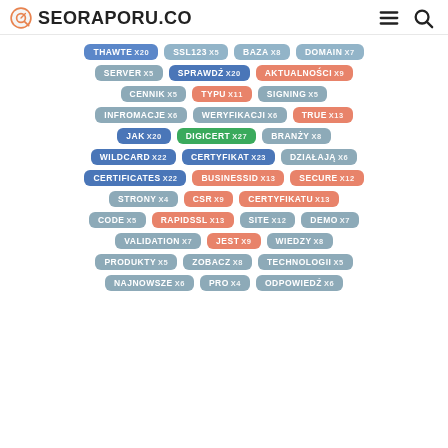SEORAPORU.CO
[Figure (infographic): Tag cloud with keyword tags and occurrence counts for an SEO analysis tool. Tags include: THAWTE x20, SSL123 x5, BAZA x8, DOMAIN x7, SERVER x5, SPRAWDŹ x20, AKTUALNOŚCI x9, CENNIK x5, TYPU x11, SIGNING x5, INFROMACJE x6, WERYFIKACJI x6, TRUE x13, JAK x20, DIGICERT x27, BRANŻY x8, WILDCARD x22, CERTYFIKAT x23, DZIAŁAJĄ x6, CERTIFICATES x22, BUSINESSID x13, SECURE x12, STRONY x4, CSR x9, CERTYFIKATU x13, CODE x5, RAPIDSSL x13, SITE x12, DEMO x7, VALIDATION x7, JEST x9, WIEDZY x8, PRODUKTY x5, ZOBACZ x8, TECHNOLOGII x5, NAJNOWSZE x6, PRO x4, ODPOWIEDŹ x6]